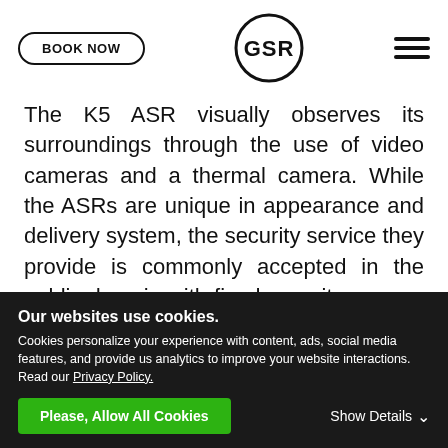BOOK NOW | GSR logo | hamburger menu
The K5 ASR visually observes its surroundings through the use of video cameras and a thermal camera. While the ASRs are unique in appearance and delivery system, the security service they provide is commonly accepted in the public domain with fixed security camera systems. The K5 proactively seeks out anomalies that might suggest criminal activity, such as people in restricted areas
Our websites use cookies.
Cookies personalize your experience with content, ads, social media features, and provide us analytics to improve your website interactions. Read our Privacy Policy.
Please, Allow All Cookies | Show Details